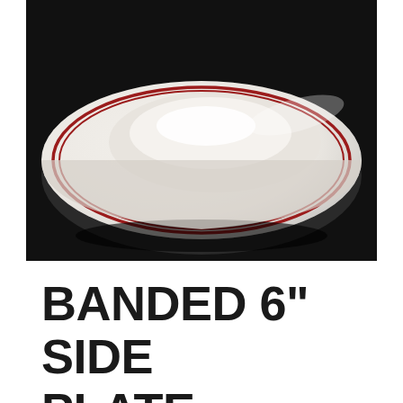[Figure (photo): A white ceramic side plate with red banding around the rim, photographed at an angle on a dark black background. The plate is oval/round with a wide flat rim and a shallow center well. Two thin red concentric lines decorate the outer rim of the plate.]
BANDED 6" SIDE PLATE